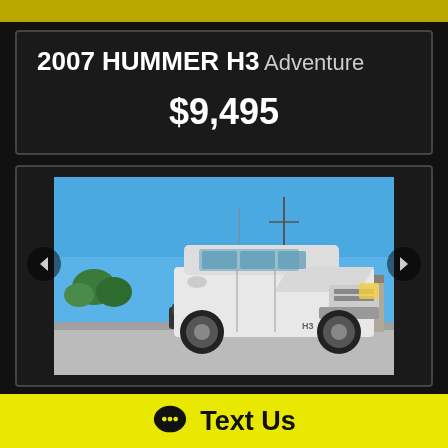2007 HUMMER H3 Adventure
$9,495
[Figure (photo): White 2007 Hummer H3 Adventure SUV parked in a dealership lot under a clear blue sky, front three-quarter view]
Text Us